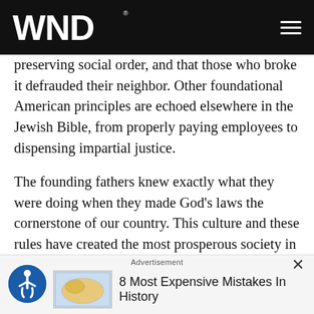WND
preserving social order, and that those who broke it defrauded their neighbor. Other foundational American principles are echoed elsewhere in the Jewish Bible, from properly paying employees to dispensing impartial justice.
The founding fathers knew exactly what they were doing when they made God’s laws the cornerstone of our country. This culture and these rules have created the most prosperous society in the world. It has also created a society in which human rights are respected, a promise that millions of Americans have paid the ultimate price to defend.
Advertisement
8 Most Expensive Mistakes In History